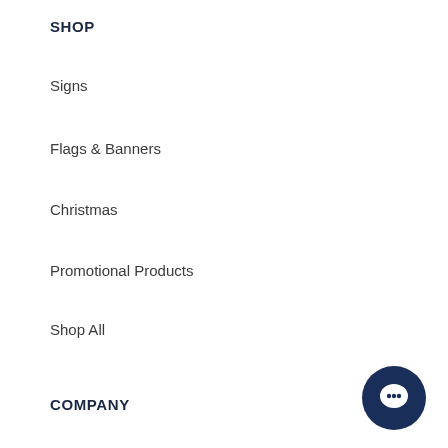SHOP
Signs
Flags & Banners
Christmas
Promotional Products
Shop All
COMPANY
Catalogs
[Figure (illustration): Dark navy blue circular chat/messaging button icon in the bottom right corner]